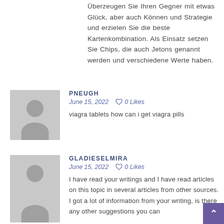Überzeugen Sie Ihren Gegner mit etwas Glück, aber auch Können und Strategie und erzielen Sie die beste Kartenkombination. Als Einsatz setzen Sie Chips, die auch Jetons genannt werden und verschiedene Werte haben.
PNEUGH
June 15, 2022    ♡ 0 Likes
viagra tablets how can i get viagra pills
GLADIESELMIRA
June 15, 2022    ♡ 0 Likes
I have read your writings and I have read articles on this topic in several articles from other sources. I got a lot of information from your writing, is there any other suggestions you can